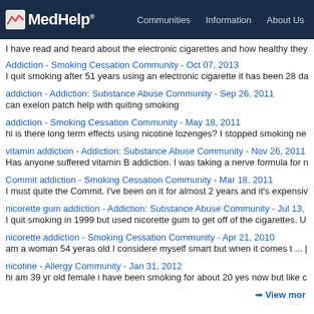MedHelp | Communities | Information | About Us
I have read and heard about the electronic cigarettes and how healthy they
Addiction - Smoking Cessation Community - Oct 07, 2013
I quit smoking after 51 years using an electronic cigarette it has been 28 da
addiction - Addiction: Substance Abuse Community - Sep 26, 2011
can exelon patch help with quiting smoking
addiction - Smoking Cessation Community - May 18, 2011
hi is there long term effects using nicotine lozenges? I stopped smoking ne
vitamin addiction - Addiction: Substance Abuse Community - Nov 26, 2011
Has anyone suffered vitamin B addiction. I was taking a nerve formula for n
Commit addiction - Smoking Cessation Community - Mar 18, 2011
I must quite the Commit. I've been on it for almost 2 years and it's expensiv
nicorette gum addiction - Addiction: Substance Abuse Community - Jul 13,
I quit smoking in 1999 but used nicorette gum to get off of the cigarettes. U
nicorette addiction - Smoking Cessation Community - Apr 21, 2010
am a woman 54 yeras old I considere myself smart but wnen it comes t ... |
nicotine - Allergy Community - Jan 31, 2012
hi am 39 yr old female i have been smoking for about 20 yes now but like c
View more